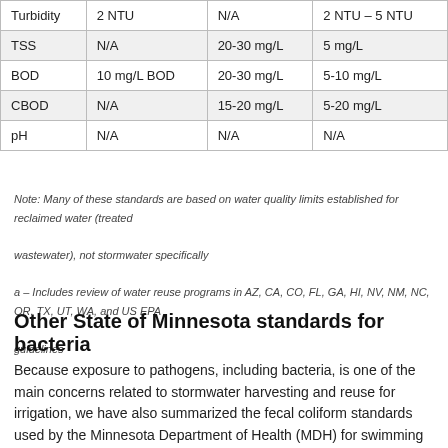|  |  |  |  |
| --- | --- | --- | --- |
| Turbidity | 2 NTU | N/A | 2 NTU – 5 NTU |
| TSS | N/A | 20-30 mg/L | 5 mg/L |
| BOD | 10 mg/L BOD | 20-30 mg/L | 5-10 mg/L |
| CBOD | N/A | 15-20 mg/L | 5-20 mg/L |
| pH | N/A | N/A | N/A |
Note: Many of these standards are based on water quality limits established for reclaimed water (treated wastewater), not stormwater specifically
a – Includes review of water reuse programs in AZ, CA, CO, FL, GA, HI, NV, NM, NC, OR, TX, UT, WA, and US EPA guidelines
Other State of Minnesota standards for bacteria
Because exposure to pathogens, including bacteria, is one of the main concerns related to stormwater harvesting and reuse for irrigation, we have also summarized the fecal coliform standards used by the Minnesota Department of Health (MDH) for swimming beach closures as well as the Minnesota Pollution